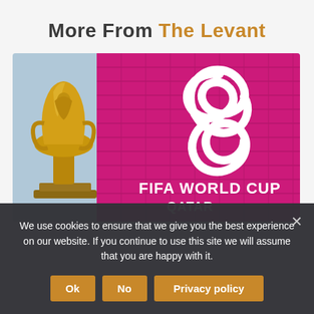More From The Levant
[Figure (photo): FIFA World Cup Qatar trophy (golden World Cup statue) in front of a magenta/pink billboard showing the FIFA World Cup Qatar 2022 logo (infinity-shaped ribbon symbol) and text 'FIFA WORLD CUP']
We use cookies to ensure that we give you the best experience on our website. If you continue to use this site we will assume that you are happy with it.
Ok  No  Privacy policy